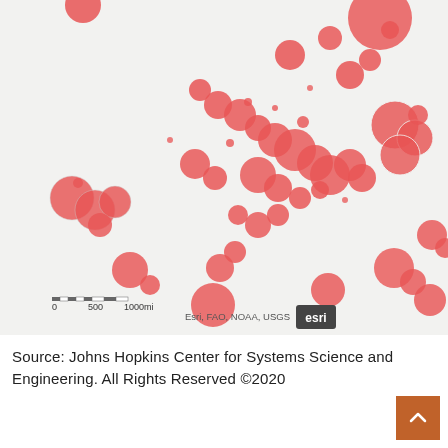[Figure (map): Bubble map showing COVID-19 case distribution across North America and surrounding regions. Red circles of varying sizes represent case counts at different geographic locations. Map includes a scale bar (0–500–1000mi) and attribution: Esri, FAO, NOAA, USGS with Esri logo. Background is light gray (Esri basemap).]
Source: Johns Hopkins Center for Systems Science and Engineering. All Rights Reserved ©2020